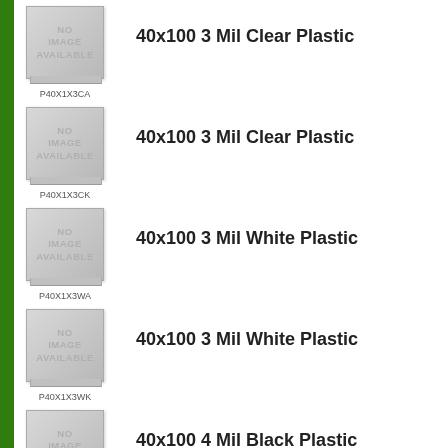[Figure (other): No image available placeholder for P40X1X3CA]
P40X1X3CA
40x100 3 Mil Clear Plastic
[Figure (other): No image available placeholder for P40X1X3CK]
P40X1X3CK
40x100 3 Mil Clear Plastic
[Figure (other): No image available placeholder for P40X1X3WA]
P40X1X3WA
40x100 3 Mil White Plastic
[Figure (other): No image available placeholder for P40X1X3WK]
P40X1X3WK
40x100 3 Mil White Plastic
[Figure (other): No image available placeholder for P40X1X4BB]
P40X1X4BB
40x100 4 Mil Black Plastic
[Figure (other): No image available placeholder for P40X1X4BK (partial)]
40x100 4 Mil Black Plastic